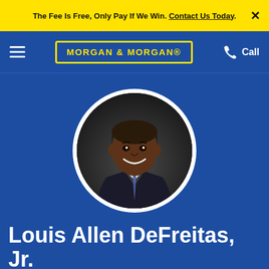The Fee Is Free, Only Pay If We Win. Contact Us Today.
[Figure (logo): Morgan & Morgan law firm logo in yellow text on dark blue background with yellow border]
[Figure (photo): Circular framed professional headshot portrait of Louis Allen DeFreitas Jr., a Black man in a dark suit and tie, smiling, against a dark studio background]
Louis Allen DeFreitas, Jr.